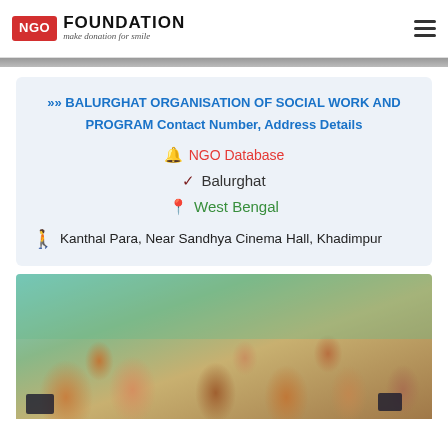NGO FOUNDATION - make donation for smile
[Figure (photo): Partial image strip at top of content area]
BALURGHAT ORGANISATION OF SOCIAL WORK AND PROGRAM Contact Number, Address Details
NGO Database
Balurghat
West Bengal
Kanthal Para, Near Sandhya Cinema Hall, Khadimpur
[Figure (photo): Children sitting in a classroom, some holding slates/tablets, in a colorful room setting]